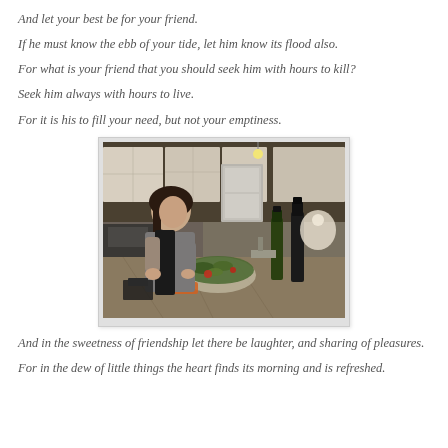And let your best be for your friend.
If he must know the ebb of your tide, let him know its flood also.
For what is your friend that you should seek him with hours to kill?
Seek him always with hours to live.
For it is his to fill your need, but not your emptiness.
[Figure (photo): A person standing at a kitchen island/counter preparing a salad in a glass bowl. Wine bottles are on the counter. The kitchen has white cabinetry and granite countertops.]
And in the sweetness of friendship let there be laughter, and sharing of pleasures.
For in the dew of little things the heart finds its morning and is refreshed.